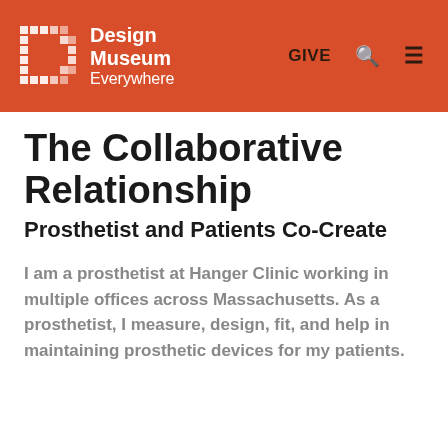Design Museum Everywhere — GIVE
The Collaborative Relationship
Prosthetist and Patients Co-Create
I am a prosthetist at Hanger Clinic working in multiple offices across Massachusetts. As a prosthetist, I measure, design, fit, and help in maintaining prosthetic devices for my patients.